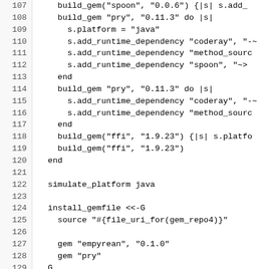[Figure (screenshot): Code listing showing Ruby gemspec build_gem and install_gemfile code, lines 107-136]